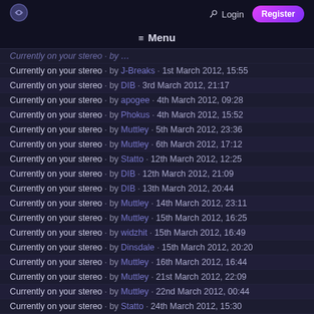Login  Register  Menu
Currently on your stereo - by J-Breaks - 1st March 2012, 15:55
Currently on your stereo - by DIB - 3rd March 2012, 21:17
Currently on your stereo - by apogee - 4th March 2012, 09:28
Currently on your stereo - by Phokus - 4th March 2012, 15:52
Currently on your stereo - by Muttley - 5th March 2012, 23:36
Currently on your stereo - by Muttley - 6th March 2012, 17:12
Currently on your stereo - by Statto - 12th March 2012, 12:25
Currently on your stereo - by DIB - 12th March 2012, 21:09
Currently on your stereo - by DIB - 13th March 2012, 20:44
Currently on your stereo - by Muttley - 14th March 2012, 23:11
Currently on your stereo - by Muttley - 15th March 2012, 16:25
Currently on your stereo - by widzhit - 15th March 2012, 16:49
Currently on your stereo - by Dinsdale - 15th March 2012, 20:20
Currently on your stereo - by Muttley - 16th March 2012, 16:44
Currently on your stereo - by Muttley - 21st March 2012, 22:09
Currently on your stereo - by Muttley - 22nd March 2012, 00:44
Currently on your stereo - by Statto - 24th March 2012, 15:30
Currently on your stereo - by Muttley - 24th March 2012, 16:08
Currently on your stereo - by DIB - 24th March 2012, 21:37